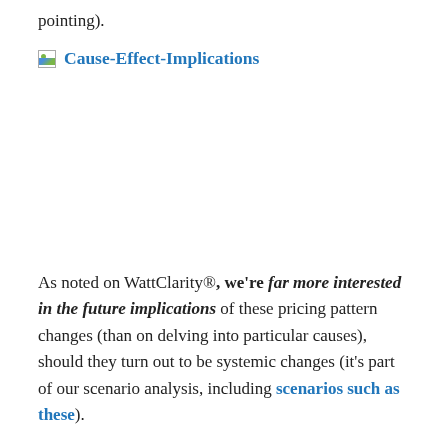pointing).
Cause-Effect-Implications
[Figure (other): Placeholder image icon next to section header link 'Cause-Effect-Implications']
As noted on WattClarity®, we're far more interested in the future implications of these pricing pattern changes (than on delving into particular causes), should they turn out to be systemic changes (it's part of our scenario analysis, including scenarios such as these).
We have been a keen supporter of demand response in Australia's National Electricity Market for more than 15 years.  Ours was a pretty lonely